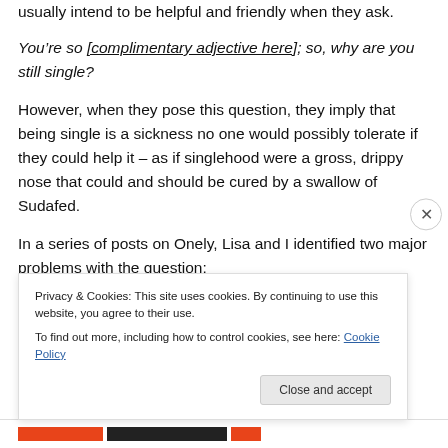usually intend to be helpful and friendly when they ask.
You’re so [complimentary adjective here]; so, why are you still single?
However, when they pose this question, they imply that being single is a sickness no one would possibly tolerate if they could help it – as if singlehood were a gross, drippy nose that could and should be cured by a swallow of Sudafed.
In a series of posts on Onely, Lisa and I identified two major problems with the question:
Privacy & Cookies: This site uses cookies. By continuing to use this website, you agree to their use.
To find out more, including how to control cookies, see here: Cookie Policy